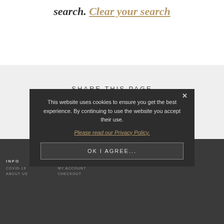search. Clear your search
SHARE THIS PAGE
[Figure (infographic): Social share icons: Facebook, Twitter, LinkedIn]
[Figure (infographic): Dark footer with social icons: phone, email, Facebook, Twitter, Instagram, LinkedIn, YouTube]
INFO | MY ACCOUNT
This website uses cookies to ensure you get the best experience. By continuing to use the website you accept their use.
Please read our Privacy Policy.
OK I AGREE...